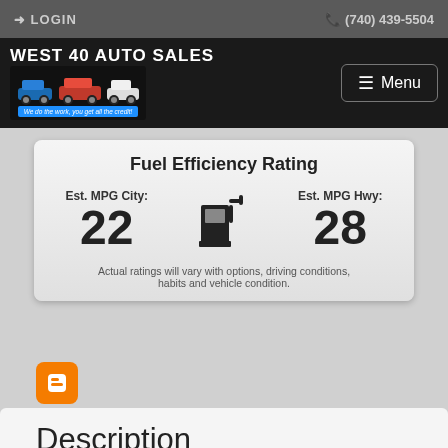LOGIN   (740) 439-5504
[Figure (logo): West 40 Auto Sales logo with cars illustration and tagline 'We do the work, you get all the credit!']
Fuel Efficiency Rating
Est. MPG City: 22   Est. MPG Hwy: 28
Actual ratings will vary with options, driving conditions, habits and vehicle condition.
Description
EXTRA CLEAN!!! RUNS AND DRIVES GREAT!!